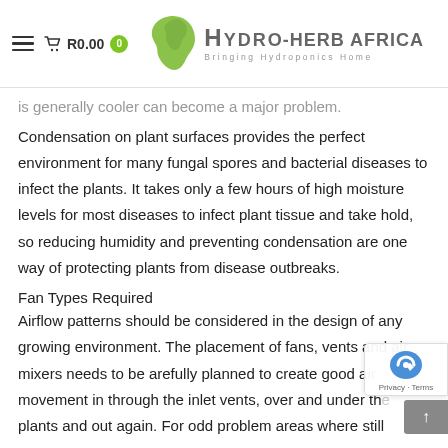Hydro-Herb Africa — Bringing Hydroponics Home
is generally cooler can become a major problem.
Condensation on plant surfaces provides the perfect environment for many fungal spores and bacterial diseases to infect the plants. It takes only a few hours of high moisture levels for most diseases to infect plant tissue and take hold, so reducing humidity and preventing condensation are one way of protecting plants from disease outbreaks.
Fan Types Required
Airflow patterns should be considered in the design of any growing environment. The placement of fans, vents and air mixers needs to be arefully planned to create good air movement in through the inlet vents, over and under the plants and out again. For odd problem areas where still